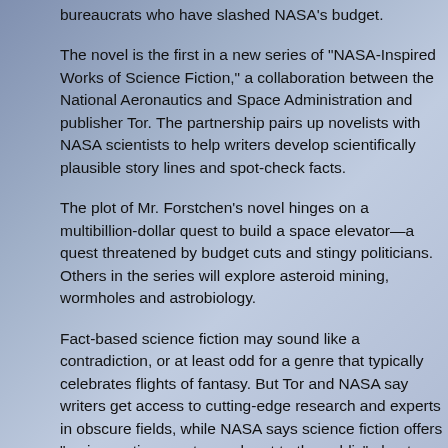bureaucrats who have slashed NASA's budget.
The novel is the first in a new series of "NASA-Inspired Works collaboration between the National Aeronautics and Space Administration and publisher Tor. The partnership pairs up novelists with NASA scientists to help writers develop scientifically plausible story lines and spot-check facts.
The plot of Mr. Forstchen's novel hinges on a multibillion-dollar quest to build a space elevator—a quest threatened by budget cuts and stingy politicians. Others in the series will explore asteroid mining, wormholes and astrobiology.
Fact-based science fiction may sound like a contradiction, or at least odd for a genre that typically celebrates flights of fantasy. But Tor and NASA say writers get access to cutting-edge research and experts in obscure fields, while NASA says science fiction offers "an innovative way to reach out to the public" about what the agency is doing.
NASA has been hosting novelists at its research facilities for mixers called "Science Meets Science Fact." At one mixer, in October 2012, some 20 science fiction writers met experts at the Goddard Space Flight Center in Maryland. They toured a hypervelocity lab, laser and electro-optics facility and cosmic ice laboratory. Novelists donned anticontamination suits and were sent home with fragments of